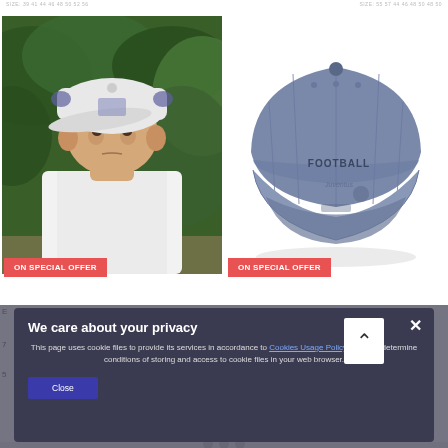SIZE: 39 41 44 46 48 50 52 56   SIZE: 55 57 44 46 48 50 48 50
[Figure (photo): Young child wearing a white baseball cap with emblem, white long sleeve shirt, standing outdoors with green foliage background. Red badge 'ON SPECIAL OFFER' at bottom.]
[Figure (photo): Blue/grey chambray baseball cap with 'FOOTBALL' text embroidered on side, on white background. Red badge 'ON SPECIAL OFFER' at bottom.]
We care about your privacy
This page uses cookie files to provide its services in accordance to Cookies Usage Policy. You can determine conditions of storing and access to cookie files in your web browser.
Close